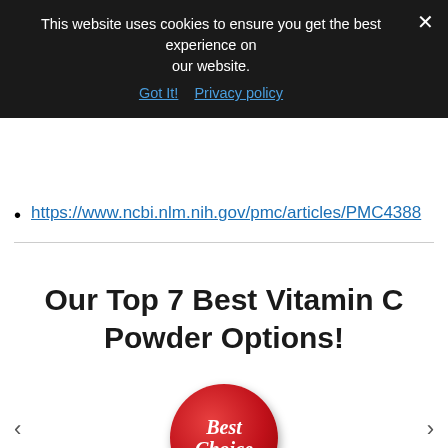This website uses cookies to ensure you get the best experience on our website. Got It! Privacy policy
https://www.ncbi.nlm.nih.gov/pmc/articles/PMC4388...
Our Top 7 Best Vitamin C Powder Options!
[Figure (illustration): Red circular badge with white italic text reading 'Best Choice']